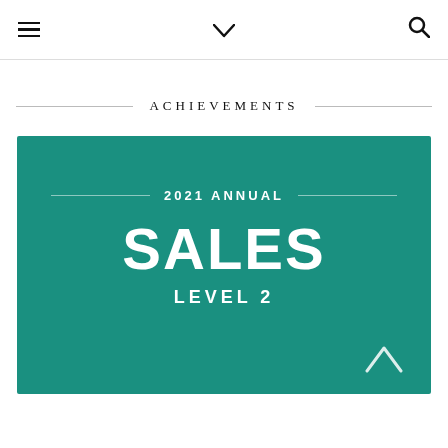Navigation header with hamburger menu, chevron, and search icon
ACHIEVEMENTS
[Figure (infographic): Teal card showing '2021 Annual SALES LEVEL 2' achievement badge with decorative horizontal lines and a caret-up arrow in the bottom right corner]